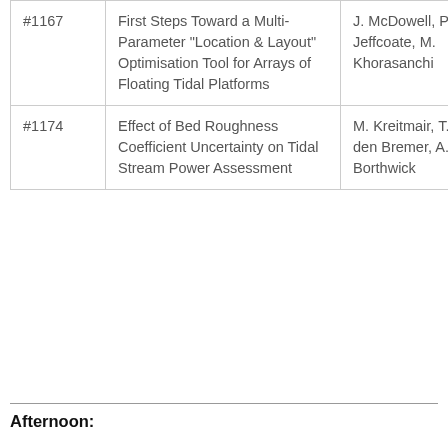| # | Title | Authors |
| --- | --- | --- |
| #1167 | First Steps Toward a Multi-Parameter "Location & Layout" Optimisation Tool for Arrays of Floating Tidal Platforms | J. McDowell, P. Jeffcoate, M. Khorasanchi |
| #1174 | Effect of Bed Roughness Coefficient Uncertainty on Tidal Stream Power Assessment | M. Kreitmair, T. van den Bremer, A. Borthwick |
Afternoon: